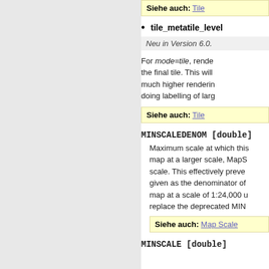Siehe auch: Tile
tile_metatile_level
Neu in Version 6.0.
For mode=tile, rende the final tile. This will much higher renderin doing labelling of larg
Siehe auch: Tile
MINSCALEDENOM [double]
Maximum scale at which this map at a larger scale, MapS scale. This effectively preve given as the denominator of map at a scale of 1:24,000 u replace the deprecated MIN
Siehe auch: Map Scale
MINSCALE [double]